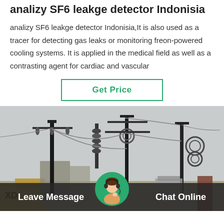analizy SF6 leakge detector Indonisia
analizy SF6 leakge detector Indonisia,It is also used as a tracer for detecting gas leaks or monitoring freon-powered cooling systems. It is applied in the medical field as well as a contrasting agent for cardiac and vascular
Get Price
[Figure (photo): Electrical substation with high-voltage transmission towers, insulators, cables, and industrial equipment. Yellow containers visible at bottom left.]
Leave Message
Chat Online